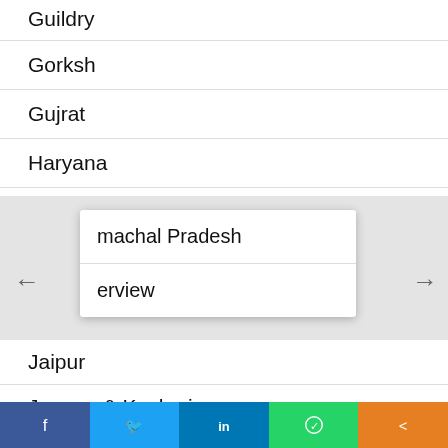Guildry
Gorksh
Gujrat
Haryana
Himachal Pradesh
Interview
Jaipur
Jammu & Kashmir
Jharkhand
[Figure (screenshot): Social share bar with Facebook, Twitter, LinkedIn, WhatsApp, and share buttons]